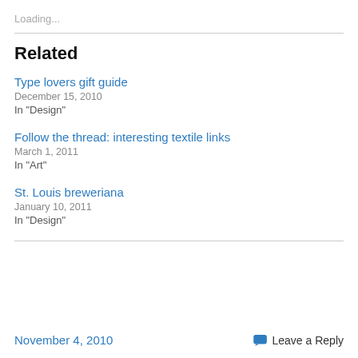Loading...
Related
Type lovers gift guide
December 15, 2010
In "Design"
Follow the thread: interesting textile links
March 1, 2011
In "Art"
St. Louis breweriana
January 10, 2011
In "Design"
November 4, 2010    Leave a Reply